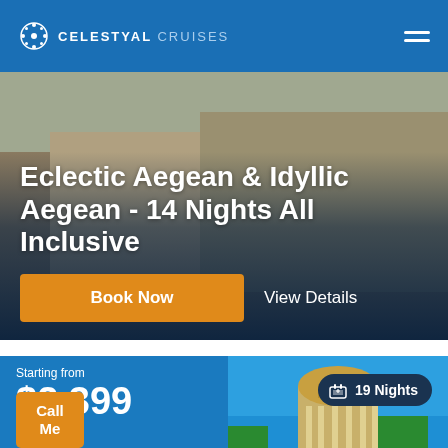CELESTYAL CRUISES
Eclectic Aegean & Idyllic Aegean - 14 Nights All Inclusive
Book Now
View Details
Starting from
$2,399
19 Nights
Call Me